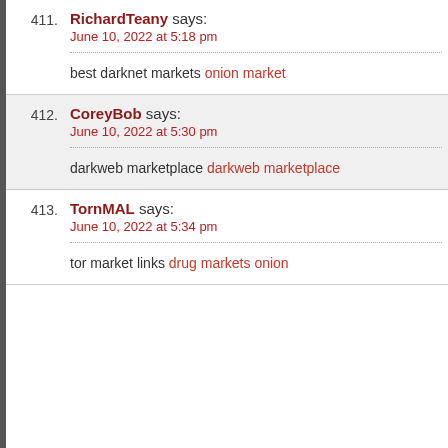411. RichardTeany says: June 10, 2022 at 5:18 pm — best darknet markets onion market
412. CoreyBob says: June 10, 2022 at 5:30 pm — darkweb marketplace darkweb marketplace
413. TornMAL says: June 10, 2022 at 5:34 pm — tor market links drug markets onion